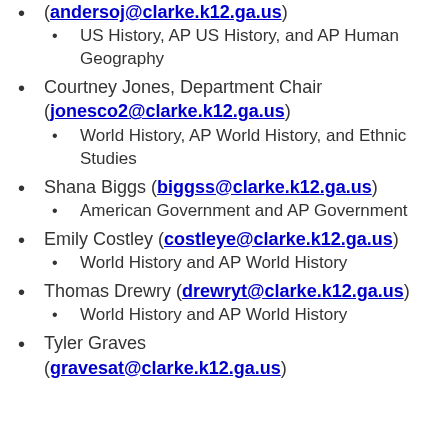(andersoj@clarke.k12.ga.us)
  • US History, AP US History, and AP Human Geography
Courtney Jones, Department Chair (jonesco2@clarke.k12.ga.us)
  • World History, AP World History, and Ethnic Studies
Shana Biggs (biggss@clarke.k12.ga.us)
  • American Government and AP Government
Emily Costley (costleye@clarke.k12.ga.us)
  • World History and AP World History
Thomas Drewry (drewryt@clarke.k12.ga.us)
  • World History and AP World History
Tyler Graves
  (gravesat@clarke.k12.ga.us)